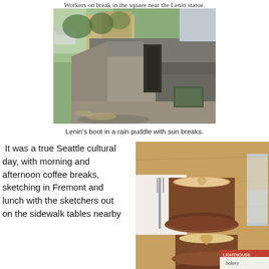Workers on break in the square near the Lenin statue.
[Figure (photo): Close-up photograph of the base of the Lenin statue, showing the stone pedestal with a boot detail, shadows from trees on the pavement, and a small green plaque.]
Lenin's boot in a rain puddle with sun breaks.
It was a true Seattle cultural day, with morning and afternoon coffee breaks, sketching in Fremont and lunch with the sketchers out on the sidewalk tables nearby
[Figure (photo): Two lattes with latte art in dark brown ceramic cups on a wooden table, a glass of water, fork and napkin visible, with a Lighthouse Roasters bakery bag in the corner.]